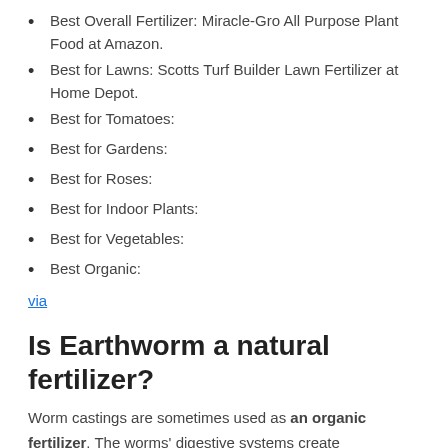Best Overall Fertilizer: Miracle-Gro All Purpose Plant Food at Amazon.
Best for Lawns: Scotts Turf Builder Lawn Fertilizer at Home Depot.
Best for Tomatoes:
Best for Gardens:
Best for Roses:
Best for Indoor Plants:
Best for Vegetables:
Best Organic:
via
Is Earthworm a natural fertilizer?
Worm castings are sometimes used as an organic fertilizer. The worms' digestive systems create environments that allow certain species of microbes to thrive to help create a "living" soil